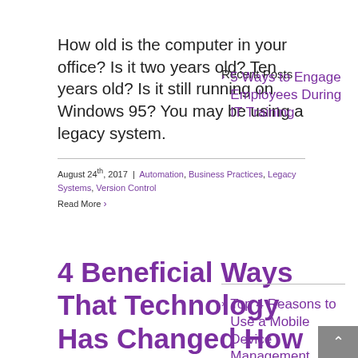How old is the computer in your office? Is it two years old? Ten years old? Is it still running on Windows 95? You may be using a legacy system.
August 24th, 2017 | Automation, Business Practices, Legacy Systems, Version Control Read More >
4 Beneficial Ways That Technology Has Changed How We Do Business
Recent Posts
5 Ways to Engage Employees During IT Training
Top 4 Reasons to Use a Mobile Device Management System